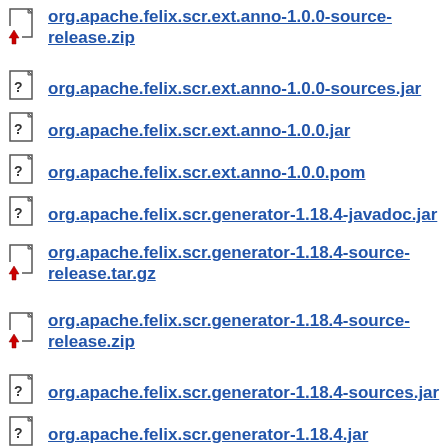org.apache.felix.scr.ext.anno-1.0.0-source-release.zip
org.apache.felix.scr.ext.anno-1.0.0-sources.jar
org.apache.felix.scr.ext.anno-1.0.0.jar
org.apache.felix.scr.ext.anno-1.0.0.pom
org.apache.felix.scr.generator-1.18.4-javadoc.jar
org.apache.felix.scr.generator-1.18.4-source-release.tar.gz
org.apache.felix.scr.generator-1.18.4-source-release.zip
org.apache.felix.scr.generator-1.18.4-sources.jar
org.apache.felix.scr.generator-1.18.4.jar
org.apache.felix.scr.generator-1.18.4.pom
org.apache.felix.servicediagnostics.plugin-0.1.3-source-release.tar.gz
org.apache.felix.servicediagnostics.plugin-0.1.3-